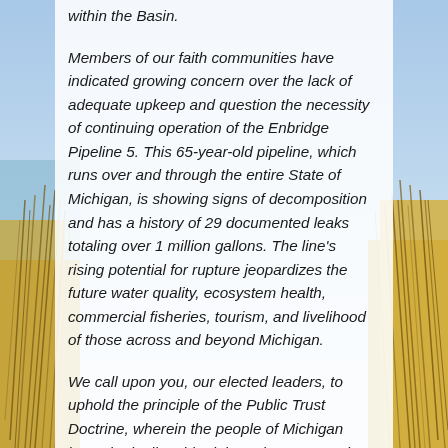[Figure (photo): Background photo of beach dunes with tall grasses under a blue sky, with the Great Lakes visible. The image flanks both sides of a central white text panel.]
within the Basin.
Members of our faith communities have indicated growing concern over the lack of adequate upkeep and question the necessity of continuing operation of the Enbridge Pipeline 5. This 65-year-old pipeline, which runs over and through the entire State of Michigan, is showing signs of decomposition and has a history of 29 documented leaks totaling over 1 million gallons. The line's rising potential for rupture jeopardizes the future water quality, ecosystem health, commercial fisheries, tourism, and livelihood of those across and beyond Michigan.
We call upon you, our elected leaders, to uphold the principle of the Public Trust Doctrine, wherein the people of Michigan have the inalienable right to the preservation, use and protection of the waters of the Great Lakes. This